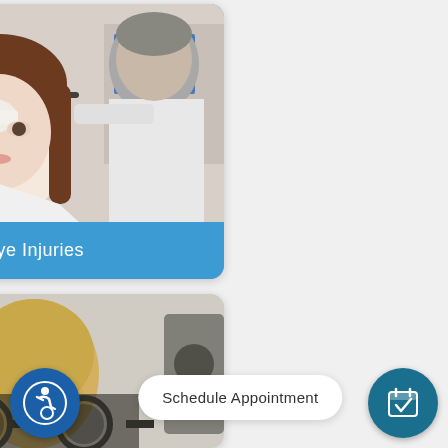[Figure (photo): Doctor examining a female patient's eye, patient has a bandage over one eye, doctor in white coat holding a medical instrument near her eye]
Eye Injuries
[Figure (photo): Child or patient viewed from behind at eye exam equipment, optometry trial lens frame visible in foreground]
Schedule Appointment